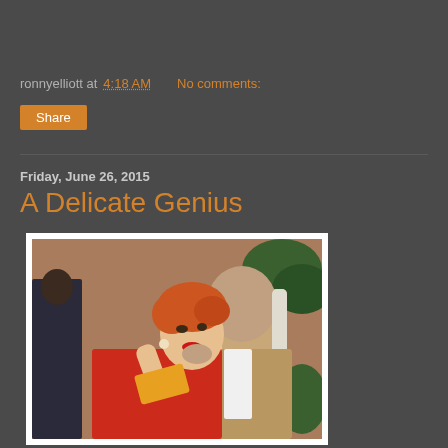ronnyelliott at 4:18 AM   No comments:
Share
Friday, June 26, 2015
A Delicate Genius
[Figure (photo): Vintage illustration-style photo showing a woman with red hair in a red jacket looking up, and a man with long white hair behind her, in a social setting with brick wall background.]